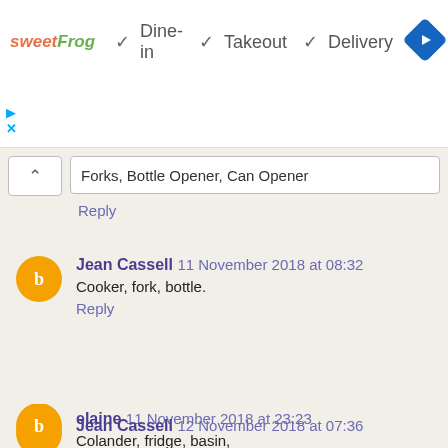[Figure (infographic): Ad banner for sweetFrog with dine-in, takeout, delivery checkmarks and a blue navigation diamond icon]
Forks, Bottle Opener, Can Opener
Reply
Jean Cassell 11 November 2018 at 08:32
Cooker, fork, bottle.
Reply
elaine 11 November 2018 at 23:23
Colander, fridge, basin,
Reply
Jean Cassell 12 November 2018 at 07:36